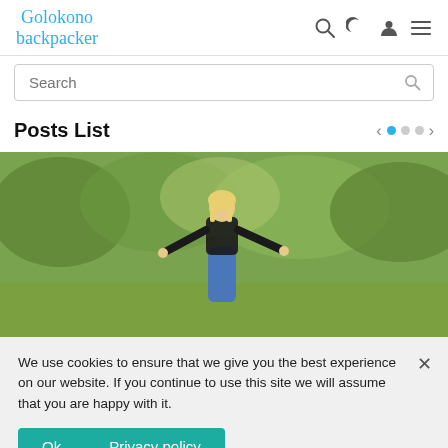Golokono backpacker
Search
Posts List
[Figure (photo): Woman with blonde hair, arms outstretched, standing in a green forested landscape, viewed from behind, wearing black top and blue jeans]
We use cookies to ensure that we give you the best experience on our website. If you continue to use this site we will assume that you are happy with it.
Ok   Privacy policy